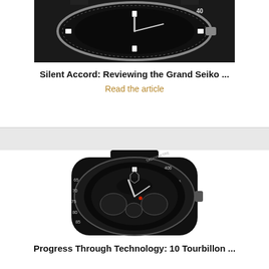[Figure (photo): Close-up photo of a Grand Seiko watch face showing black dial with silver bezel and hour markers]
Silent Accord: Reviewing the Grand Seiko ...
Read the article
[Figure (photo): Close-up photo of a TAG Heuer Carrera black chronograph watch with skeleton dial and tachymetre bezel, Tourbillon model]
Progress Through Technology: 10 Tourbillon ...